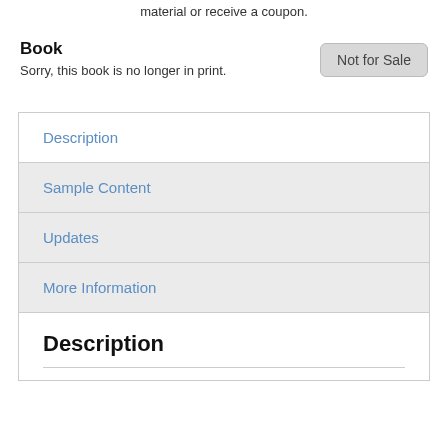material or receive a coupon.
Book
Sorry, this book is no longer in print.
Description
Sample Content
Updates
More Information
Description